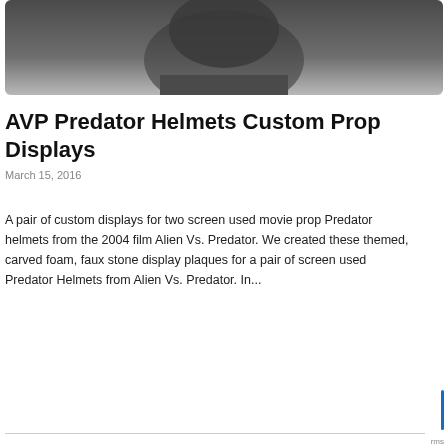[Figure (photo): Top portion of a dark gray Predator helmet prop against a light background, photo cropped at bottom]
AVP Predator Helmets Custom Prop Displays
March 15, 2016
A pair of custom displays for two screen used movie prop Predator helmets from the 2004 film Alien Vs. Predator. We created these themed, carved foam, faux stone display plaques for a pair of screen used Predator Helmets from Alien Vs. Predator. In...